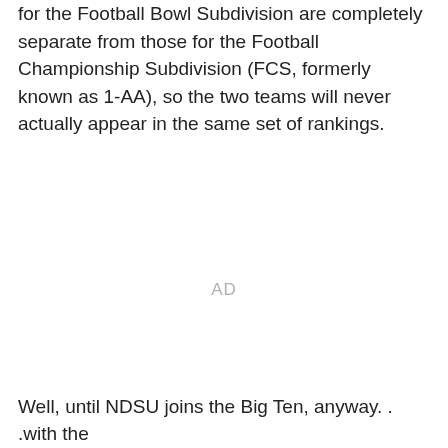for the Football Bowl Subdivision are completely separate from those for the Football Championship Subdivision (FCS, formerly known as 1-AA), so the two teams will never actually appear in the same set of rankings.
AD
Well, until NDSU joins the Big Ten, anyway. . .with the